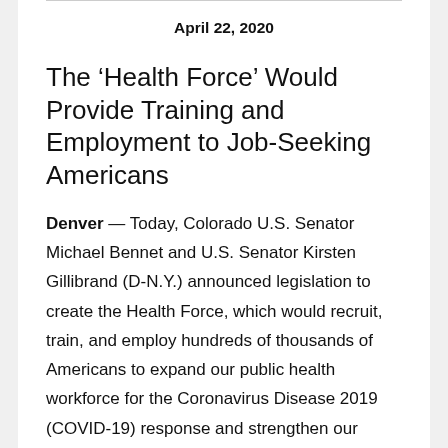April 22, 2020
The ‘Health Force’ Would Provide Training and Employment to Job-Seeking Americans
Denver — Today, Colorado U.S. Senator Michael Bennet and U.S. Senator Kirsten Gillibrand (D-N.Y.) announced legislation to create the Health Force, which would recruit, train, and employ hundreds of thousands of Americans to expand our public health workforce for the Coronavirus Disease 2019 (COVID-19) response and strengthen our capacity to meet America’s longer-term public